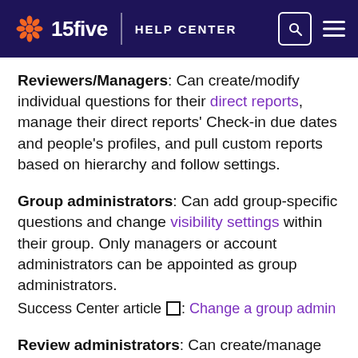15five | HELP CENTER
Reviewers/Managers: Can create/modify individual questions for their direct reports, manage their direct reports' Check-in due dates and people's profiles, and pull custom reports based on hierarchy and follow settings.
Group administrators: Can add group-specific questions and change visibility settings within their group. Only managers or account administrators can be appointed as group administrators. Success Center article: Change a group admin
Review administrators: Can create/manage review cycles and question templates, as well as view answers on all submitted reviews. Review administrators may or